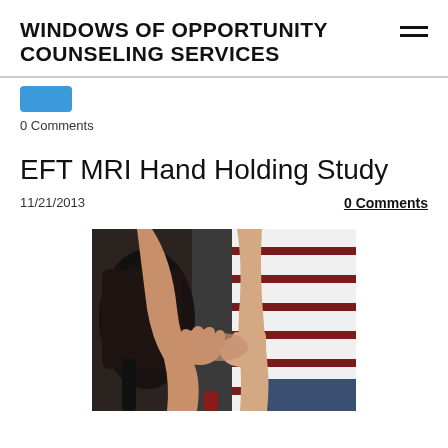WINDOWS OF OPPORTUNITY COUNSELING SERVICES
0 Comments
EFT MRI Hand Holding Study
11/21/2013
0 Comments
[Figure (photo): A couple holding hands, one person wearing a white and dark-red striped shirt, the other carrying a dark handbag; the hands are clasped together in the center of the image.]